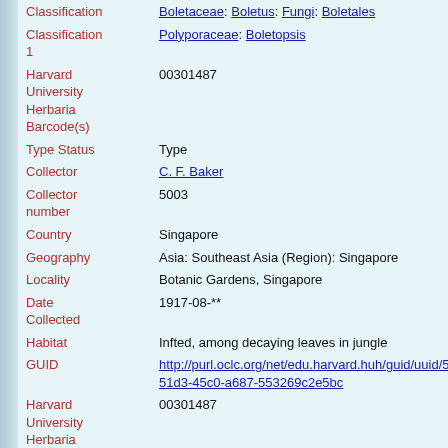| Field | Value |
| --- | --- |
| Classification | Boletaceae: Boletus: Fungi: Boletales |
| Classification 1 | Polyporaceae: Boletopsis |
| Harvard University Herbaria Barcode(s) | 00301487 |
| Type Status | Type |
| Collector | C. F. Baker |
| Collector number | 5003 |
| Country | Singapore |
| Geography | Asia: Southeast Asia (Region): Singapore |
| Locality | Botanic Gardens, Singapore |
| Date Collected | 1917-08-** |
| Habitat | Infted, among decaying leaves in jungle |
| GUID | http://purl.oclc.org/net/edu.harvard.huh/guid/uuid/57551d3-45c0-a687-553269c2e5bc |
| Harvard University Herbaria Barcode | 00301487 |